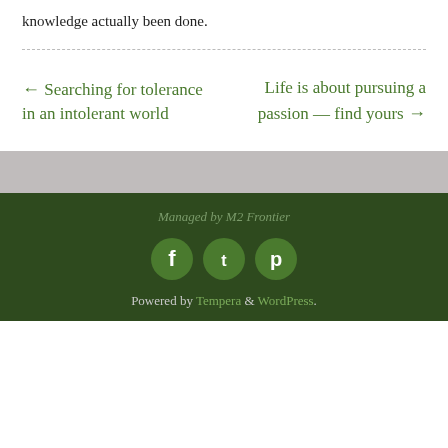knowledge actually been done.
← Searching for tolerance in an intolerant world
Life is about pursuing a passion — find yours →
Managed by M2 Frontier
[Figure (other): Social media icons: Facebook, Twitter, Pinterest — circular green buttons]
Powered by Tempera & WordPress.